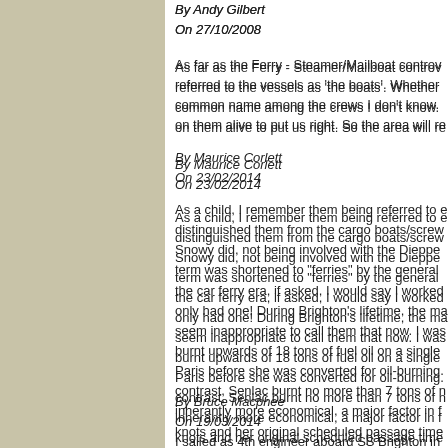By Andy Gilbert
On 27/10/2008
As far as the Ferry - Steamer/Mailboat controv... referred to the vessels as 'the boats'. Whether common name among the crews I don't know. on them alive to put us right. So the area will re...
By Maurice Corlett
On 23/02/2014
As a child, I remember them being referred to e... distinguished them from the cargo boats/screw Snowy did, not being involved with the Dieppe term was shortened to "ferries" by the general the car ferry era, if asked, I would say I worked only had one! During Brighton's lifetime, the ma seem inappropriate to call them that now. I was burnt upwards of 18 tons of fuel oil on a single Paris before she was converted for oil-burning. contrast, Senlac burnt no more than 7 tons of n inherantly more economical, a major factor in f knots and her original scheduled passage time
By Bruce Macphee
On 19/03/2014
I sailed as 4th engineer aboard SS Brighton in Welsh rugby supporters going to see Wales try sheets to the wind" upon boarding singing and different...